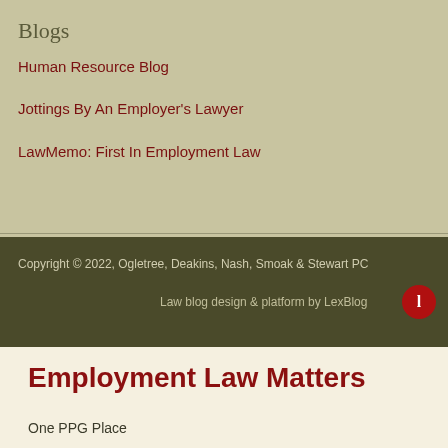Blogs
Human Resource Blog
Jottings By An Employer's Lawyer
LawMemo: First In Employment Law
Copyright © 2022, Ogletree, Deakins, Nash, Smoak & Stewart PC
Law blog design & platform by LexBlog
Employment Law Matters
One PPG Place